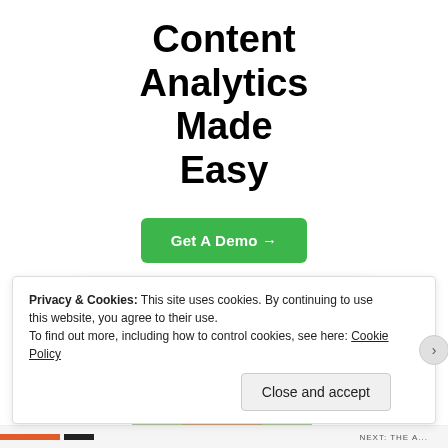Content Analytics Made Easy
[Figure (other): Green 'Get A Demo →' call-to-action button]
[Figure (screenshot): Screenshot of a content analytics dashboard with a line/area chart showing Today's stats, overlaid on a photo of a woman with brown bangs]
Privacy & Cookies: This site uses cookies. By continuing to use this website, you agree to their use.
To find out more, including how to control cookies, see here: Cookie Policy
Close and accept